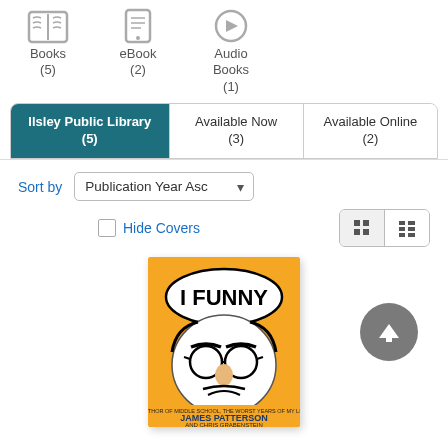[Figure (infographic): Three format icons: Books (5), eBook (2), Audio Books (1)]
Books (5)
eBook (2)
Audio Books (1)
Ilsley Public Library (5) | Available Now (3) | Available Online (2)
Sort by  Publication Year Asc
Hide Covers
[Figure (photo): Book cover of 'I Funny' by James Patterson and Chris Grabenstein, orange cover with cartoon face wearing disguise glasses]